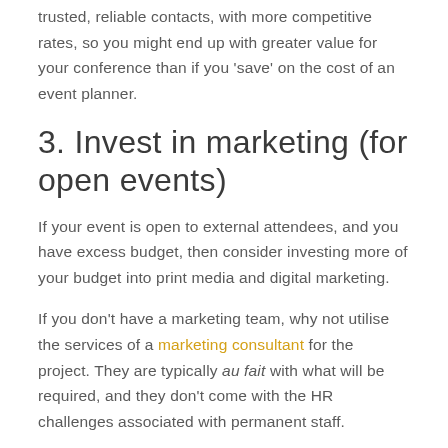trusted, reliable contacts, with more competitive rates, so you might end up with greater value for your conference than if you 'save' on the cost of an event planner.
3. Invest in marketing (for open events)
If your event is open to external attendees, and you have excess budget, then consider investing more of your budget into print media and digital marketing.
If you don't have a marketing team, why not utilise the services of a marketing consultant for the project. They are typically au fait with what will be required, and they don't come with the HR challenges associated with permanent staff.